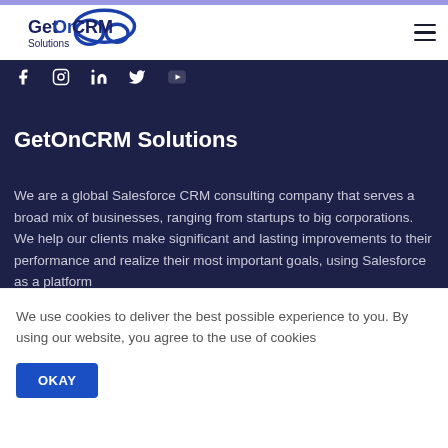[Figure (logo): GetOnCRM Solutions logo with cloud icon in blue and dark navy text]
[Figure (infographic): Social media icons row: Facebook, Instagram, LinkedIn, Twitter, YouTube in white on dark navy background]
GetOnCRM Solutions
We are a global Salesforce CRM consulting company that serves a broad mix of businesses, ranging from startups to big corporations. We help our clients make significant and lasting improvements to their performance and realize their most important goals, using Salesforce as a platform
We use cookies to deliver the best possible experience to you. By using our website, you agree to the use of cookies